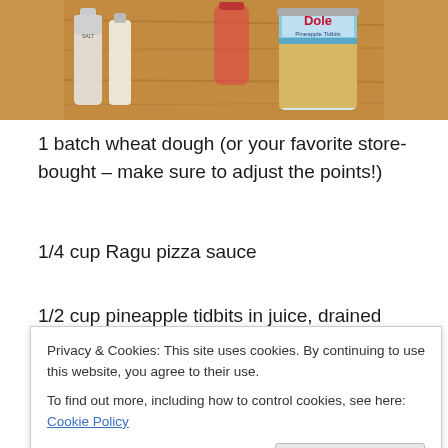[Figure (photo): Photo of cooking ingredients on a wooden cutting board, including a Dole Pineapple Tidbits can and other items]
1 batch wheat dough (or your favorite store-bought – make sure to adjust the points!)
1/4 cup Ragu pizza sauce
1/2 cup pineapple tidbits in juice, drained
Privacy & Cookies: This site uses cookies. By continuing to use this website, you agree to their use.
To find out more, including how to control cookies, see here: Cookie Policy
4 slices Canadian bacon, cut into small pieces